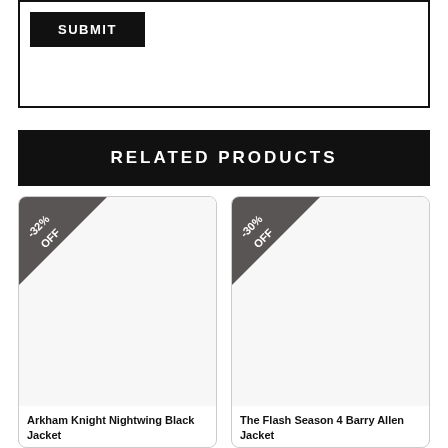[Figure (screenshot): Submit button inside a bordered box]
RELATED PRODUCTS
[Figure (screenshot): Product card for Arkham Knight Nightwing Black Jacket with -32% OFF badge]
Arkham Knight Nightwing Black Jacket
[Figure (screenshot): Product card for The Flash Season 4 Barry Allen Jacket with -30% OFF badge]
The Flash Season 4 Barry Allen Jacket